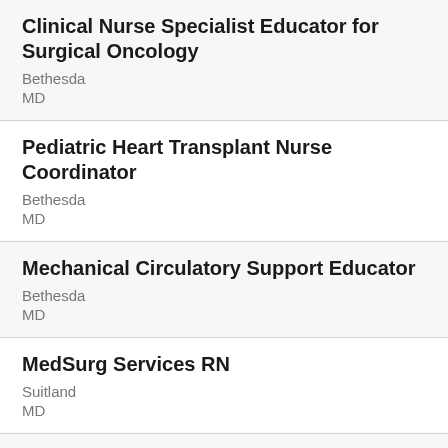Clinical Nurse Specialist Educator for Surgical Oncology
Bethesda
MD
Pediatric Heart Transplant Nurse Coordinator
Bethesda
MD
Mechanical Circulatory Support Educator
Bethesda
MD
MedSurg Services RN
Suitland
MD
Orthopedic Nursing Coordinator
Washington